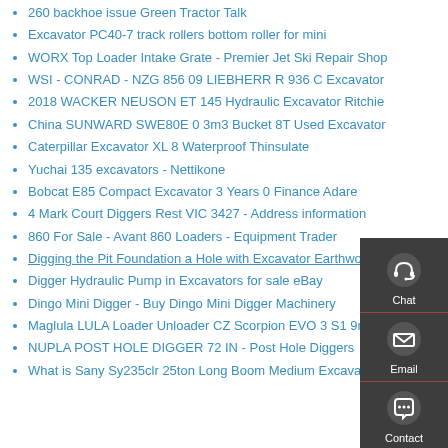260 backhoe issue Green Tractor Talk
Excavator PC40-7 track rollers bottom roller for mini
WORX Top Loader Intake Grate - Premier Jet Ski Repair Shop
WSI - CONRAD - NZG 856 09 LIEBHERR R 936 C Excavator
2018 WACKER NEUSON ET 145 Hydraulic Excavator Ritchie
China SUNWARD SWE80E 0 3m3 Bucket 8T Used Excavator
Caterpillar Excavator XL 8 Waterproof Thinsulate
Yuchai 135 excavators - Nettikone
Bobcat E85 Compact Excavator 3 Years 0 Finance Adare
4 Mark Court Diggers Rest VIC 3427 - Address information
860 For Sale - Avant 860 Loaders - Equipment Trader
Digging the Pit Foundation a Hole with Excavator Earthwork in
Digger Hydraulic Pump in Excavators for sale eBay
Dingo Mini Digger - Buy Dingo Mini Digger Machinery
Maglula LULA Loader Unloader CZ Scorpion EVO 3 S1 9mm
NUPLA POST HOLE DIGGER 72 IN - Post Hole Diggers
What is Sany Sy235clr 25ton Long Boom Medium Excavator
[Figure (infographic): Floating contact widget panel with three sections: Chat (headset icon), Email (envelope icon), Contact (speech bubble icon), all on dark grey background]